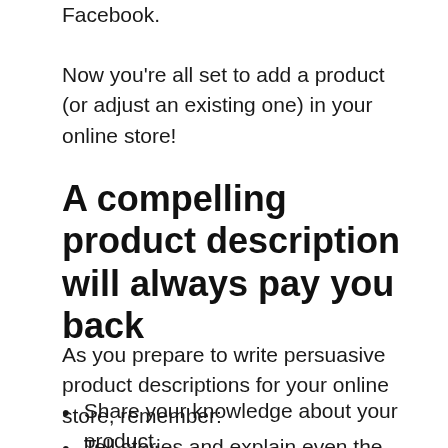Facebook.
Now you're all set to add a product (or adjust an existing one) in your online store!
A compelling product description will always pay you back
As you prepare to write persuasive product descriptions for your online store, remember:
Share your knowledge about your product.
Tell stories and explain even the tiniest